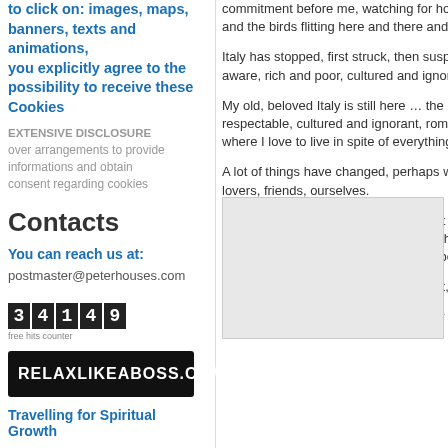to click on: images, maps, banners, texts and animations, you explicitly agree to the possibility to receive these Cookies
EXTENSIVE DISCLOSURE
over arrangements to provide informations and obtain consent regarding cookies
Contacts
You can reach us at:
postmaster@peterhouses.com
[Figure (other): Hit counter showing digits 3 4 1 4 9 with label free hits counter]
[Figure (other): Black banner with white text RELAXLIKEABOSS.COM]
Travelling for Spiritual Growth
This website is helping and
commitment before me, watching for hou and the birds flitting here and there and a
Italy has stopped, first struck, then suspe aware, rich and poor, cultured and ignora
My old, beloved Italy is still here … the C respectable, cultured and ignorant, roman where I love to live in spite of everything.
A lot of things have changed, perhaps we lovers, friends, ourselves.
Maybe it is dutiful to stop for a moment to trees, the streams, the butterflies and the our circle can be closed, balance can be s
It's already something, it's already a lot, a
It is a gift and this suspension from our rh
[Figure (other): Gray box in lower right area]